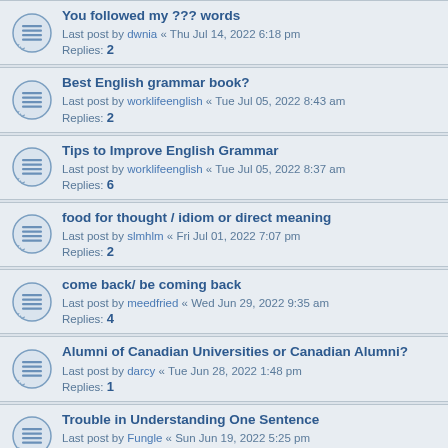You followed my ??? words
Last post by dwnia « Thu Jul 14, 2022 6:18 pm
Replies: 2
Best English grammar book?
Last post by worklifeenglish « Tue Jul 05, 2022 8:43 am
Replies: 2
Tips to Improve English Grammar
Last post by worklifeenglish « Tue Jul 05, 2022 8:37 am
Replies: 6
food for thought / idiom or direct meaning
Last post by slmhlm « Fri Jul 01, 2022 7:07 pm
Replies: 2
come back/ be coming back
Last post by meedfried « Wed Jun 29, 2022 9:35 am
Replies: 4
Alumni of Canadian Universities or Canadian Alumni?
Last post by darcy « Tue Jun 28, 2022 1:48 pm
Replies: 1
Trouble in Understanding One Sentence
Last post by Fungle « Sun Jun 19, 2022 5:25 pm
Replies: 2
Do you know good method to improve my spelling?
Last post by patron « Sat Jun 04, 2022 6:34 pm
Replies: 1
types of business industry
Last post by tbrown « Wed Jun 01, 2022 12:04 pm
Replies: 2
Grammar, quantity
Last post by ...